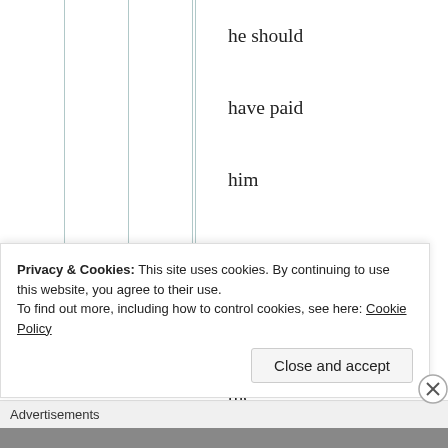he should have paid him whatever he wanted with the stipulation that he help develop Mac Jones. However,
Privacy & Cookies: This site uses cookies. By continuing to use this website, you agree to their use.
To find out more, including how to control cookies, see here: Cookie Policy
Close and accept
Advertisements